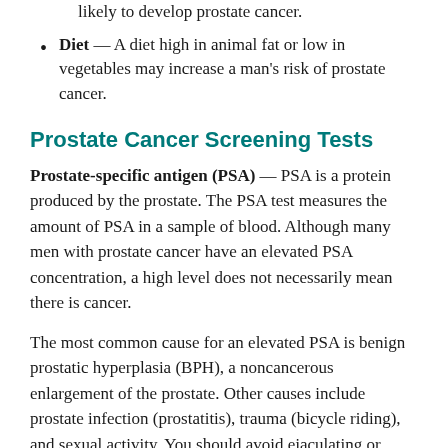likely to develop prostate cancer.
Diet — A diet high in animal fat or low in vegetables may increase a man's risk of prostate cancer.
Prostate Cancer Screening Tests
Prostate-specific antigen (PSA) — PSA is a protein produced by the prostate. The PSA test measures the amount of PSA in a sample of blood. Although many men with prostate cancer have an elevated PSA concentration, a high level does not necessarily mean there is cancer.
The most common cause for an elevated PSA is benign prostatic hyperplasia (BPH), a noncancerous enlargement of the prostate. Other causes include prostate infection (prostatitis), trauma (bicycle riding), and sexual activity. You should avoid ejaculating or riding a bike for at least 48 hours before having a PSA